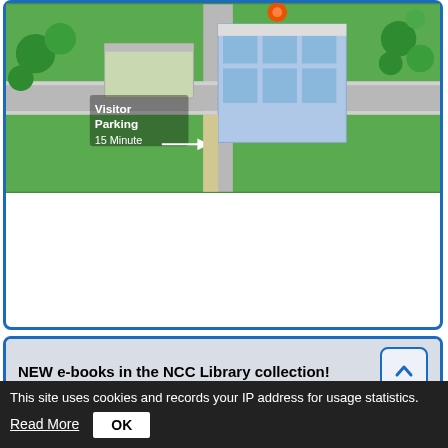[Figure (map): Campus map showing buildings, green areas, and visitor parking with 15-minute label and arrow]
NEW e-books in the NCC Library collection!
[Figure (illustration): Book cover: The Handy Western Philosophy Answer Book]
The Handy Western Philosophy Answer Book by D'Angelo, Ed.
Call Number: B 181 .D4 2021
Online
ISBN: 9781578597314
Publication Date: 2021
This site uses cookies and records your IP address for usage statistics.